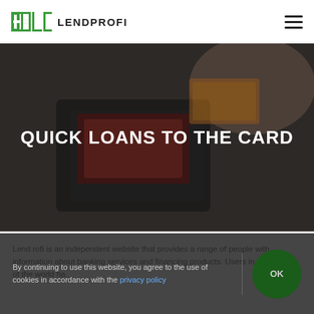LENDPROFI
[Figure (photo): Person holding a dark leather wallet with credit cards, photographed from above, dark/moody tone with overlay.]
QUICK LOANS TO THE CARD
LendProfi is an independent website that provides a range of people with information about banking services and financing products. Users in any corner of the world ha...
By continuing to use this website, you agree to the use of cookies in accordance with the privacy policy
OK